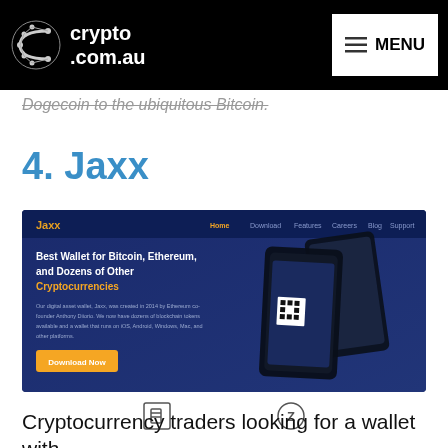crypto.com.au | MENU
Dogecoin to the ubiquitous Bitcoin.
4. Jaxx
[Figure (screenshot): Screenshot of the Jaxx website homepage showing 'Best Wallet for Bitcoin, Ethereum, and Dozens of Other Cryptocurrencies' with a Download Now button and mobile device images]
[Figure (other): Two cryptocurrency coin icons shown in a row]
Cryptocurrency traders looking for a wallet with